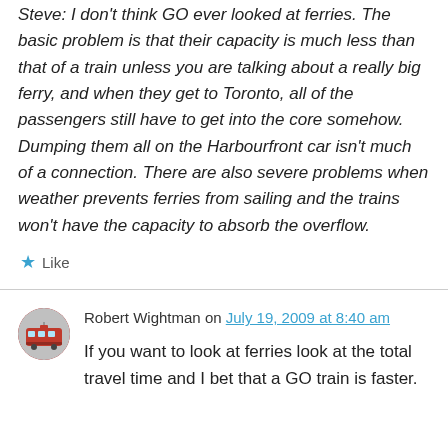Steve: I don't think GO ever looked at ferries. The basic problem is that their capacity is much less than that of a train unless you are talking about a really big ferry, and when they get to Toronto, all of the passengers still have to get into the core somehow. Dumping them all on the Harbourfront car isn't much of a connection. There are also severe problems when weather prevents ferries from sailing and the trains won't have the capacity to absorb the overflow.
★ Like
Robert Wightman on July 19, 2009 at 8:40 am
If you want to look at ferries look at the total travel time and I bet that a GO train is faster.